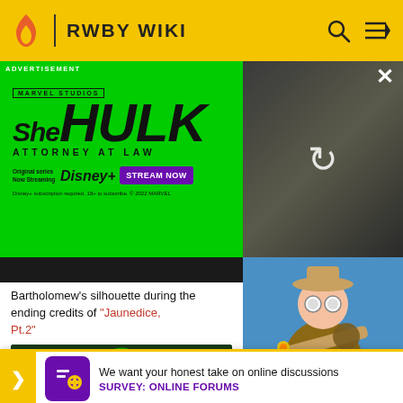RWBY WIKI
[Figure (screenshot): She-Hulk Attorney at Law Disney+ advertisement banner on RWBY Wiki. Green background with She-Hulk title text, Disney+ logo, Stream Now button, and actress photo on the right.]
Bartholomew's silhouette during the ending credits of "Jaunedice, Pt.2"
[Figure (illustration): Animated character illustration from RWBY - a person in explorer/adventurer outfit with goggles, holding a weapon, with a wolf/dog companion]
[Figure (illustration): Green-tinted thumbnail image at bottom left showing a figure with circular green glow effect]
We want your honest take on online discussions
SURVEY: ONLINE FORUMS